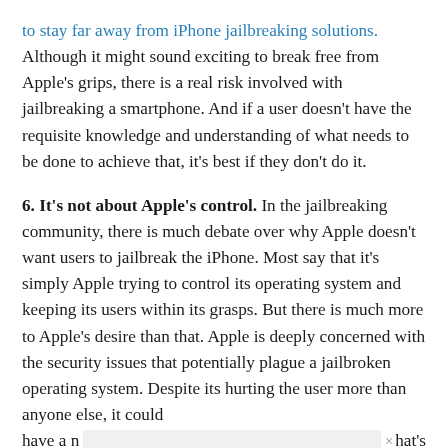to stay far away from iPhone jailbreaking solutions. Although it might sound exciting to break free from Apple's grips, there is a real risk involved with jailbreaking a smartphone. And if a user doesn't have the requisite knowledge and understanding of what needs to be done to achieve that, it's best if they don't do it.
6. It's not about Apple's control. In the jailbreaking community, there is much debate over why Apple doesn't want users to jailbreak the iPhone. Most say that it's simply Apple trying to control its operating system and keeping its users within its grasps. But there is much more to Apple's desire than that. Apple is deeply concerned with the security issues that potentially plague a jailbroken operating system. Despite its hurting the user more than anyone else, it could have a n[...] hat's somethi[...] us,